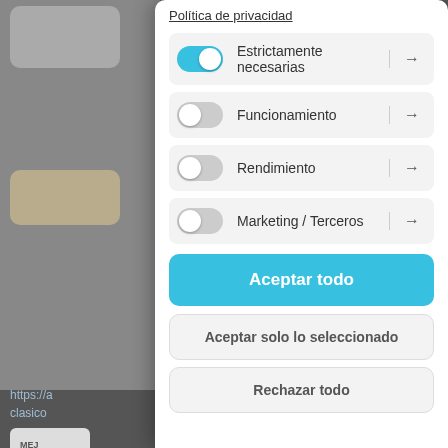[Figure (screenshot): Cookie consent modal dialog on a website. Shows a privacy policy link at top, four toggle rows (Estrictamente necesarias - enabled in blue, Funcionamiento - off, Rendimiento - off, Marketing / Terceros - off), each with an arrow. Below are three buttons: 'Aceptar todo' (blue), 'Aceptar solo lo seleccionado' (light), 'Rechazar todo' (light). Background shows a dark website with card elements and text partially visible.]